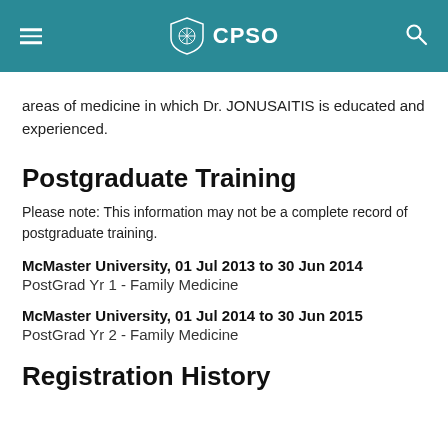CPSO
areas of medicine in which Dr. JONUSAITIS is educated and experienced.
Postgraduate Training
Please note: This information may not be a complete record of postgraduate training.
McMaster University, 01 Jul 2013 to 30 Jun 2014
PostGrad Yr 1 - Family Medicine
McMaster University, 01 Jul 2014 to 30 Jun 2015
PostGrad Yr 2 - Family Medicine
Registration History